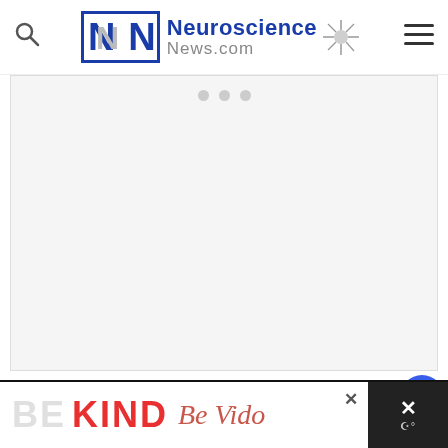Neuroscience News.com
[Figure (photo): Image placeholder with three dots (carousel indicator) on a light gray background]
“We hope that with more research we can determine which treatments are the most effective. We already hope to explore the in
[Figure (infographic): Advertisement banner reading BE KIND with decorative cursive text and close/share icons]